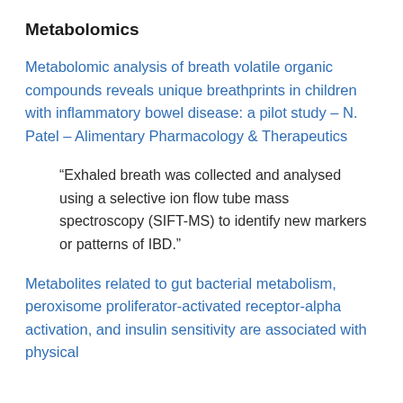Metabolomics
Metabolomic analysis of breath volatile organic compounds reveals unique breathprints in children with inflammatory bowel disease: a pilot study – N. Patel – Alimentary Pharmacology & Therapeutics
“Exhaled breath was collected and analysed using a selective ion flow tube mass spectroscopy (SIFT-MS) to identify new markers or patterns of IBD.”
Metabolites related to gut bacterial metabolism, peroxisome proliferator-activated receptor-alpha activation, and insulin sensitivity are associated with physical